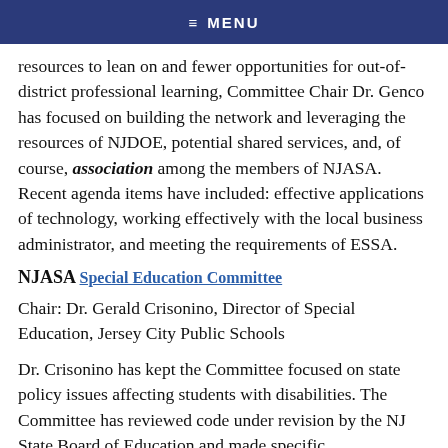≡ MENU
resources to lean on and fewer opportunities for out-of-district professional learning, Committee Chair Dr. Genco has focused on building the network and leveraging the resources of NJDOE, potential shared services, and, of course, association among the members of NJASA. Recent agenda items have included: effective applications of technology, working effectively with the local business administrator, and meeting the requirements of ESSA.
NJASA Special Education Committee
Chair: Dr. Gerald Crisonino, Director of Special Education, Jersey City Public Schools
Dr. Crisonino has kept the Committee focused on state policy issues affecting students with disabilities. The Committee has reviewed code under revision by the NJ State Board of Education and made specific recommendations. Two committee members are currently working with NJDOE on the guidance document required by